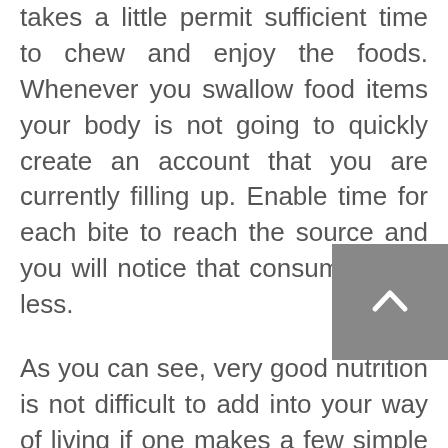takes a little permit sufficient time to chew and enjoy the foods. Whenever you swallow food items your body is not going to quickly create an account that you are currently filling up. Enable time for each bite to reach the source and you will notice that consume much less.
As you can see, very good nutrition is not difficult to add into your way of living if one makes a few simple options. You may have to personalize these guidelines to the personal requires. Commence now to have the optimistic choices you have to make. You have to develop a intend to allow yourself the sustenance your body and mind are worthy of, and stick with